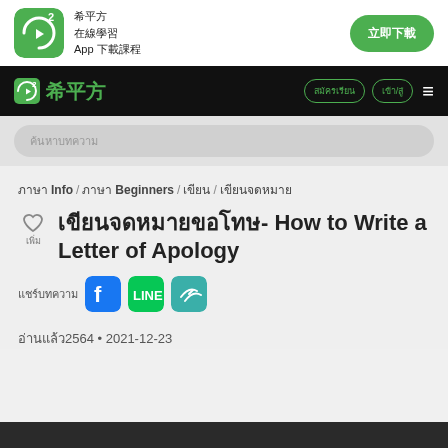希平方 App 下載
希平方 นักเรียน/สมัครเรียน ≡
ค้นหาบทความ
ภาษา Info / ภาษา Beginners / เขียน / เขียนจดหมาย
เขียนจดหมายขอโทษ- How to Write a Letter of Apology
แชร์บทความ Facebook LINE link
อ่านแล้ว2564 • 2021-12-23